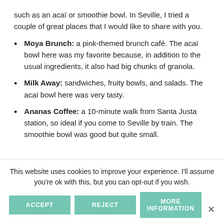such as an acai or smoothie bowl. In Seville, I tried a couple of great places that I would like to share with you.
Moya Brunch: a pink-themed brunch café. The acai bowl here was my favorite because, in addition to the usual ingredients, it also had big chunks of granola.
Milk Away: sandwiches, fruity bowls, and salads. The acai bowl here was very tasty.
Ananas Coffee: a 10-minute walk from Santa Justa station, so ideal if you come to Seville by train. The smoothie bowl was good but quite small.
This website uses cookies to improve your experience. I'll assume you're ok with this, but you can opt-out if you wish.